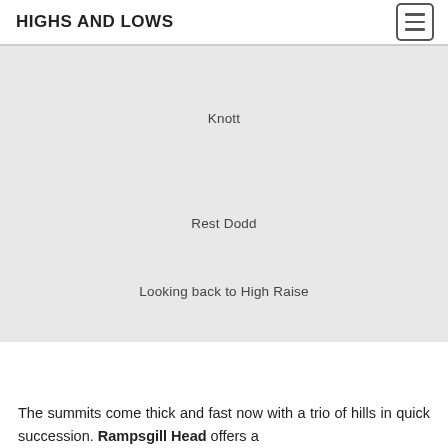HIGHS AND LOWS
Knott
Rest Dodd
Looking back to High Raise
The summits come thick and fast now with a trio of hills in quick succession. Rampsgill Head offers a